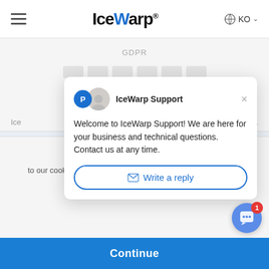IceWarp  KO
GDPR
[Figure (screenshot): IceWarp Support chat popup with avatars, message 'Welcome to IceWarp Support! We are here for your business and technical questions. Contact us at any time.' and a Write a reply button]
We use cookies to provide social media features and to analyse our traffic. You give consent to our cookies if you continue to use our website. (learn more)
Continue